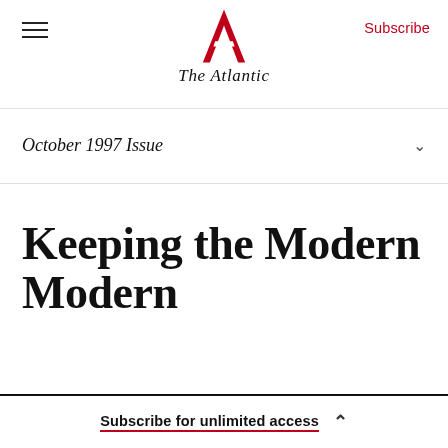The Atlantic
Subscribe
October 1997 Issue
Keeping the Modern Modern
Subscribe for unlimited access